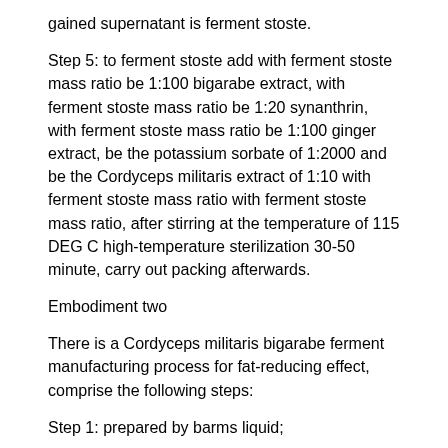gained supernatant is ferment stoste.
Step 5: to ferment stoste add with ferment stoste mass ratio be 1:100 bigarabe extract, with ferment stoste mass ratio be 1:20 synanthrin, with ferment stoste mass ratio be 1:100 ginger extract, be the potassium sorbate of 1:2000 and be the Cordyceps militaris extract of 1:10 with ferment stoste mass ratio with ferment stoste mass ratio, after stirring at the temperature of 115 DEG C high-temperature sterilization 30-50 minute, carry out packing afterwards.
Embodiment two
There is a Cordyceps militaris bigarabe ferment manufacturing process for fat-reducing effect, comprise the following steps:
Step 1: prepared by barms liquid;
Select YPD fluid nutrient medium for kind of a flow container expansion culture medium, the mass percent proportioning of YPD Liquid Culture based component is 1% yeast extract, 2% peptone, 2% glucose, 2% agar, and all the other are water; YPD fluid nutrient medium is put into